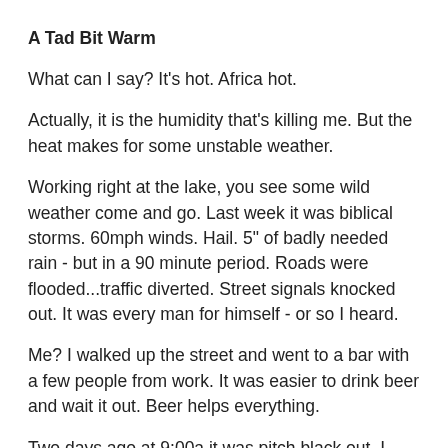A Tad Bit Warm
What can I say? It's hot. Africa hot.
Actually, it is the humidity that's killing me. But the heat makes for some unstable weather.
Working right at the lake, you see some wild weather come and go. Last week it was biblical storms. 60mph winds. Hail. 5" of badly needed rain - but in a 90 minute period. Roads were flooded...traffic diverted. Street signals knocked out. It was every man for himself - or so I heard.
Me? I walked up the street and went to a bar with a few people from work. It was easier to drink beer and wait it out. Beer helps everything.
Two days ago at 9:00a it was pitch black out. I don't mean that it was 'like pitch black...'....if you looked out your window you would have sworn it was 10p on a moonless night. There might have been wind - or rain for that matter. You